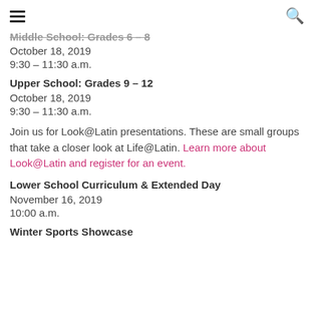≡  🔍
Middle School: Grades 6 – 8
October 18, 2019
9:30 – 11:30 a.m.
Upper School: Grades 9 – 12
October 18, 2019
9:30 – 11:30 a.m.
Join us for Look@Latin presentations. These are small groups that take a closer look at Life@Latin. Learn more about Look@Latin and register for an event.
Lower School Curriculum & Extended Day
November 16, 2019
10:00 a.m.
Winter Sports Showcase